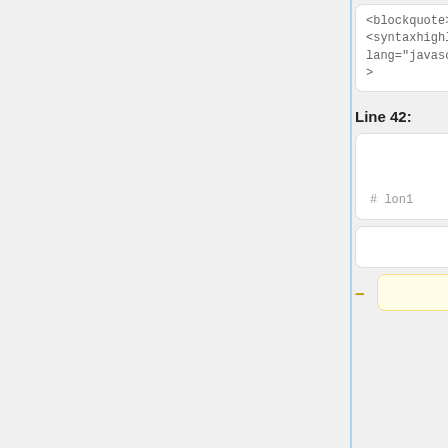[Figure (screenshot): Code diff view showing two columns: Line 42 and Line 56. Each column shows cards with blockquote/syntaxhighlight code, line numbers with -52 and ion1 labels, closing braces, and diff markers. Left column has a yellow-highlighted } card with minus marker. Right column has blue-highlighted cards for },  1:{...},  ...,  47:{...} with plus markers.]